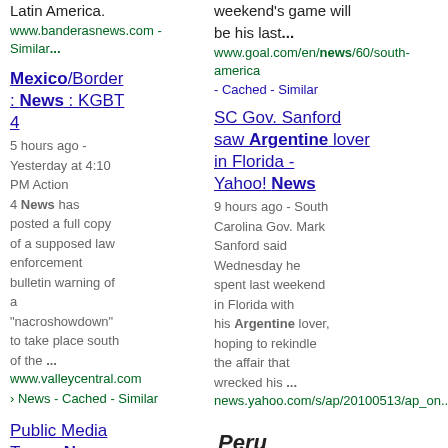Latin America.
www.banderasnews.com - Similar...
weekend's game will be his last...
www.goal.com/en/news/60/south-america - Cached - Similar
Mexico/Border : News : KGBT4
5 hours ago - Yesterday at 4:10 PM Action 4 News has posted a full copy of a supposed law enforcement bulletin warning of a "nacroshowdown" to take place south of the ...
www.valleycentral.com › News - Cached - Similar
SC Gov. Sanford saw Argentine lover in Florida - Yahoo! News
9 hours ago - South Carolina Gov. Mark Sanford said Wednesday he spent last weekend in Florida with his Argentine lover, hoping to rekindle the affair that wrecked his ...
news.yahoo.com/s/ap/20100513/ap_on.../us_
Public Media Texas: News, US-Mexico Border, Politics, Arts and ...
Peru